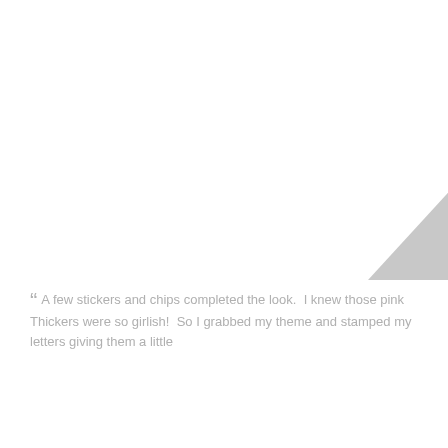[Figure (illustration): Partial gray triangle shape visible in the upper right corner of the page, cropped]
“ A few stickers and chips completed the look.  I knew those pink Thickers were so girlish!  So I grabbed my theme and stamped my letters giving them a little